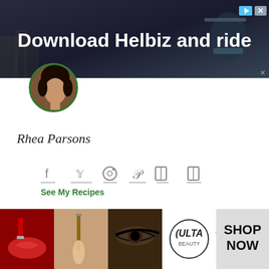[Figure (photo): Top advertisement banner for Helbiz scooter app with text 'Download Helbiz and ride' on a dark background with a person on a scooter]
[Figure (photo): Circular profile photo of Rhea Parsons with green border]
Rhea Parsons
[Figure (infographic): Row of social media icons (Facebook, Twitter, Instagram, Pinterest, and two book/recipe icons) with underlines]
See My Recipes
When Rhea became vegan, there were no places in her Bronx neighborhood to eat, so
[Figure (photo): Bottom advertisement banner for Ulta Beauty with makeup images and 'SHOP NOW' text]